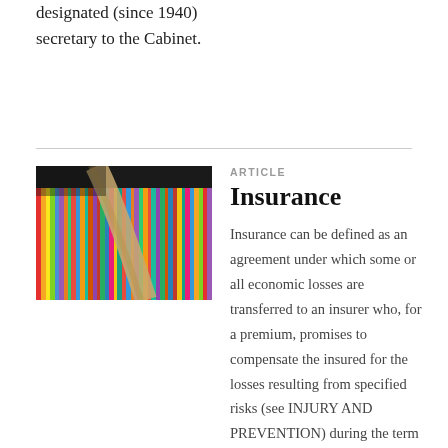designated (since 1940) secretary to the Cabinet.
[Figure (photo): Colorful spines of books or files lined up closely together on a shelf, with a curved wooden or bamboo divider visible in the foreground.]
ARTICLE
Insurance
Insurance can be defined as an agreement under which some or all economic losses are transferred to an insurer who, for a premium, promises to compensate the insured for the losses resulting from specified risks (see INJURY AND PREVENTION) during the term of the agreement.